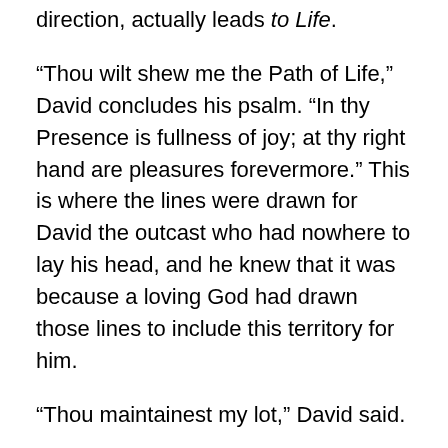direction, actually leads to Life.
“Thou wilt shew me the Path of Life,” David concludes his psalm. “In thy Presence is fullness of joy; at thy right hand are pleasures forevermore.” This is where the lines were drawn for David the outcast who had nowhere to lay his head, and he knew that it was because a loving God had drawn those lines to include this territory for him.
“Thou maintainest my lot,” David said.
…Lord, we ask that you maintain our lot too, the heritage that is You yourself. Some things are so beautiful and so high that we worry we might miss out on them. Not if it is You looking after this on our behalf, Lord. So we lean on You to do this; look after this for us, dear Lord, maintain it, protect it, keep it for us, tend it with care; uphold our lot,